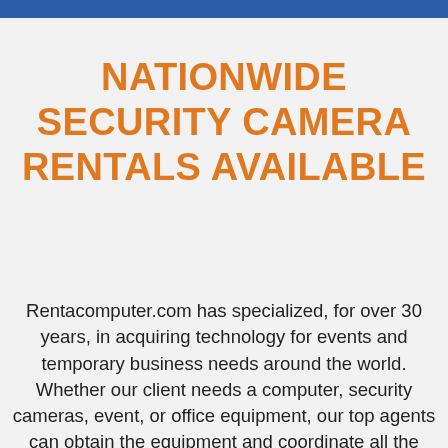NATIONWIDE SECURITY CAMERA RENTALS AVAILABLE
Rentacomputer.com has specialized, for over 30 years, in acquiring technology for events and temporary business needs around the world. Whether our client needs a computer, security cameras, event, or office equipment, our top agents can obtain the equipment and coordinate all the finer details of on-site installation.Our agents at Rentacomputer.com also specialize in providing event